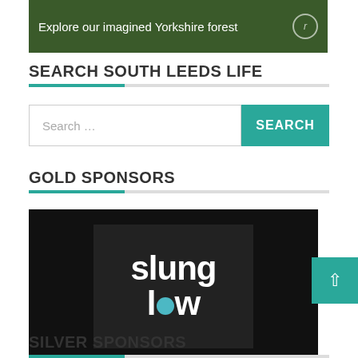[Figure (photo): Banner image with forest background and text 'Explore our imagined Yorkshire forest' with a circular icon on the right]
SEARCH SOUTH LEEDS LIFE
[Figure (screenshot): Search bar with placeholder 'Search ...' and a teal SEARCH button]
GOLD SPONSORS
[Figure (logo): Slung Low logo - white text on black background]
SILVER SPONSORS